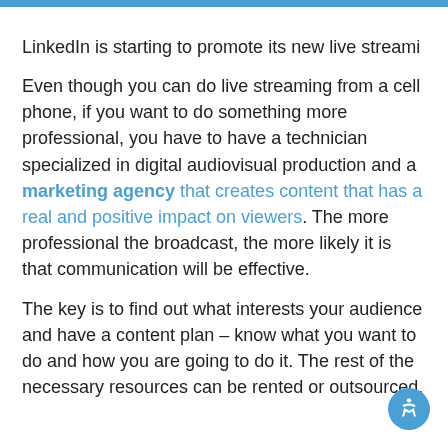LinkedIn is starting to promote its new live streami
Even though you can do live streaming from a cell phone, if you want to do something more professional, you have to have a technician specialized in digital audiovisual production and a marketing agency that creates content that has a real and positive impact on viewers. The more professional the broadcast, the more likely it is that communication will be effective.
The key is to find out what interests your audience and have a content plan – know what you want to do and how you are going to do it. The rest of the necessary resources can be rented or outsourced.